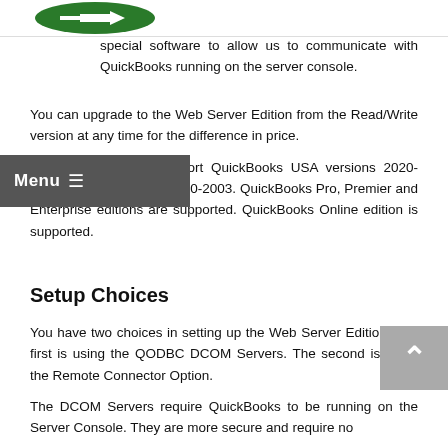[Figure (logo): Green logo with arrow at top left of page]
special software to allow us to communicate with QuickBooks running on the server console.
You can upgrade to the Web Server Edition from the Read/Write version at any time for the difference in price.
All of our products support QuickBooks USA versions 2020-2002, UK or Canadian 2020-2003. QuickBooks Pro, Premier and Enterprise editions are supported. QuickBooks Online edition is supported.
Setup Choices
You have two choices in setting up the Web Server Edition. The first is using the QODBC DCOM Servers. The second is using the Remote Connector Option.
The DCOM Servers require QuickBooks to be running on the Server Console. They are more secure and require no